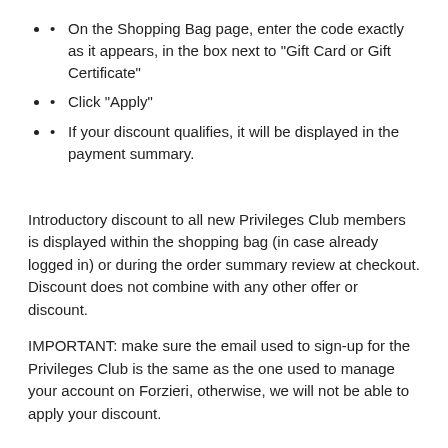On the Shopping Bag page, enter the code exactly as it appears, in the box next to "Gift Card or Gift Certificate"
Click "Apply"
If your discount qualifies, it will be displayed in the payment summary.
Introductory discount to all new Privileges Club members is displayed within the shopping bag (in case already logged in) or during the order summary review at checkout. Discount does not combine with any other offer or discount.
IMPORTANT: make sure the email used to sign-up for the Privileges Club is the same as the one used to manage your account on Forzieri, otherwise, we will not be able to apply your discount.